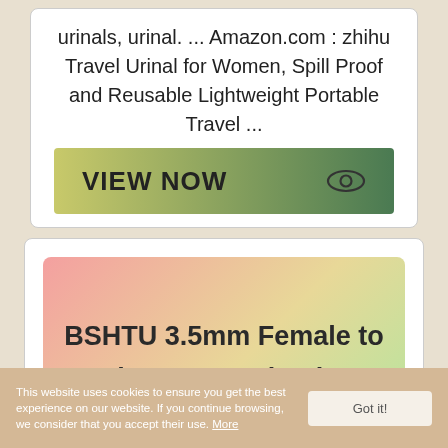urinals, urinal. ... Amazon.com : zhihu Travel Urinal for Women, Spill Proof and Reusable Lightweight Portable Travel ...
[Figure (other): VIEW NOW button with gradient background from yellow-green to dark green, with an eye icon on the right]
BSHTU 3.5mm Female to Dual RCA Female Phono ... - Amazon.com
This website uses cookies to ensure you get the best experience on our website. If you continue browsing, we consider that you accept their use. More